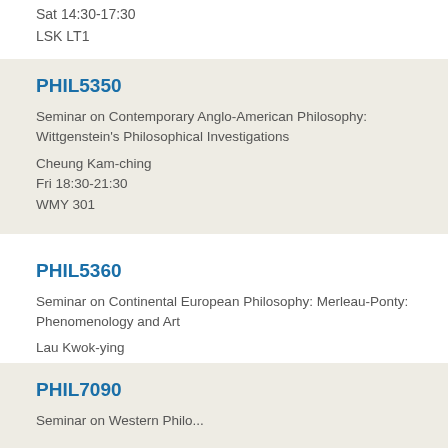Sat 14:30-17:30
LSK LT1
PHIL5350
Seminar on Contemporary Anglo-American Philosophy: Wittgenstein's Philosophical Investigations
Cheung Kam-ching
Fri 18:30-21:30
WMY 301
PHIL5360
Seminar on Continental European Philosophy: Merleau-Ponty: Phenomenology and Art
Lau Kwok-ying
Thu 18:30-21:30
YIA LT7
PHIL7090
Seminar on Western Philosophy...